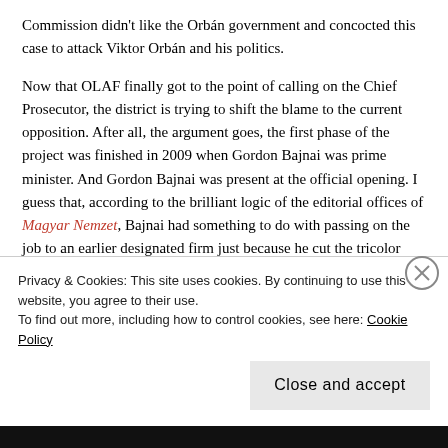Commission didn't like the Orbán government and concocted this case to attack Viktor Orbán and his politics.
Now that OLAF finally got to the point of calling on the Chief Prosecutor, the district is trying to shift the blame to the current opposition. After all, the argument goes, the first phase of the project was finished in 2009 when Gordon Bajnai was prime minister. And Gordon Bajnai was present at the official opening. I guess that, according to the brilliant logic of the editorial offices of Magyar Nemzet, Bajnai had something to do with passing on the job to an earlier designated firm just because he cut the tricolor ribbon at the opening ceremony. For good measure, Magyar Nemzet added that Viktor Szigetvári, co-chair of Együtt and then Bajnai's chief-of-staff, participated in the negotiations. Szigetvári calls the accusation a lie.
Privacy & Cookies: This site uses cookies. By continuing to use this website, you agree to their use.
To find out more, including how to control cookies, see here: Cookie Policy